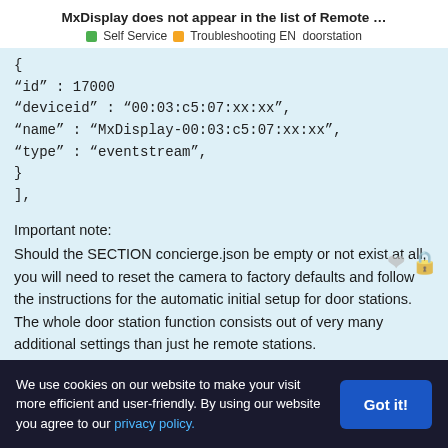MxDisplay does not appear in the list of Remote …
Self Service   Troubleshooting EN   doorstation
{
"id" : 17000
"deviceid" : "00:03:c5:07:xx:xx",
"name" : "MxDisplay-00:03:c5:07:xx:xx",
"type" : "eventstream",
}
],
Important note:
Should the SECTION concierge.json be empty or not exist at all, you will need to reset the camera to factory defaults and follow the instructions for the automatic initial setup for door stations. The whole door station function consists out of very many additional settings than just he remote stations.
We use cookies on our website to make your visit more efficient and user-friendly. By using our website you agree to our privacy policy.